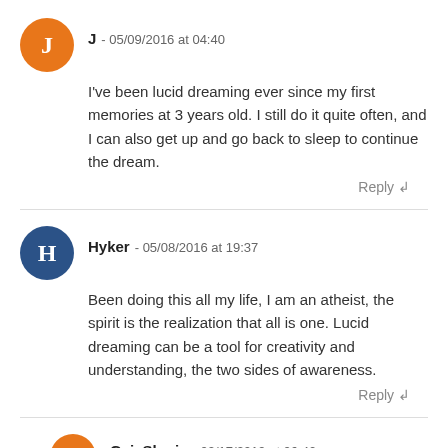J - 05/09/2016 at 04:40
I've been lucid dreaming ever since my first memories at 3 years old. I still do it quite often, and I can also get up and go back to sleep to continue the dream.
Reply
Hyker - 05/08/2016 at 19:37
Been doing this all my life, I am an atheist, the spirit is the realization that all is one. Lucid dreaming can be a tool for creativity and understanding, the two sides of awareness.
Reply
GaiaShmia - 02/17/2019 at 06:40
And what is your point, if awareness, creativity, and understanding can easily be